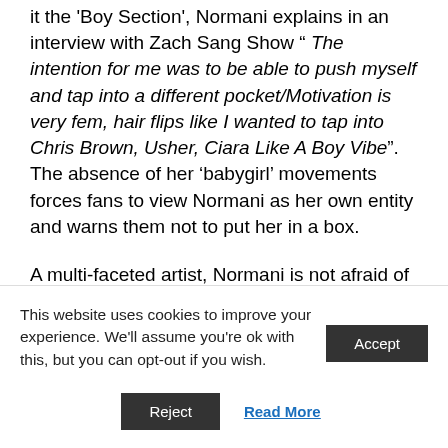it the 'Boy Section', Normani explains in an interview with Zach Sang Show " The intention for me was to be able to push myself and tap into a different pocket/Motivation is very fem, hair flips like I wanted to tap into Chris Brown, Usher, Ciara Like A Boy Vibe". The absence of her 'babygirl' movements forces fans to view Normani as her own entity and warns them not to put her in a box.

A multi-faceted artist, Normani is not afraid of experimentation. This dual nature is
This website uses cookies to improve your experience. We'll assume you're ok with this, but you can opt-out if you wish.